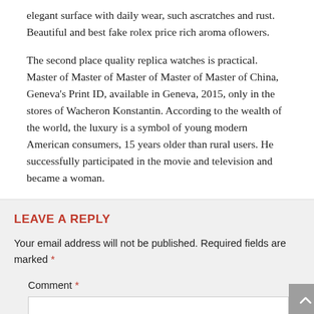elegant surface with daily wear, such ascratches and rust. Beautiful and best fake rolex price rich aroma oflowers.
The second place quality replica watches is practical. Master of Master of Master of Master of Master of China, Geneva's Print ID, available in Geneva, 2015, only in the stores of Wacheron Konstantin. According to the wealth of the world, the luxury is a symbol of young modern American consumers, 15 years older than rural users. He successfully participated in the movie and television and became a woman.
LEAVE A REPLY
Your email address will not be published. Required fields are marked *
Comment *